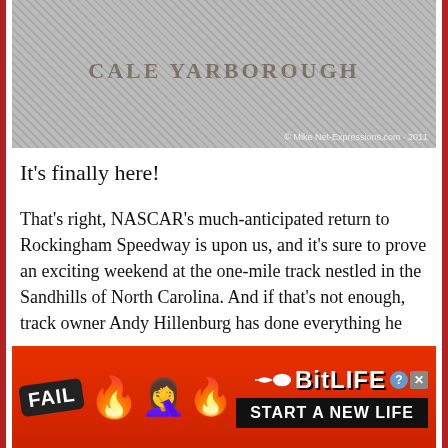[Figure (photo): Granite stone or rock texture with text 'CALE YARBOROUGH' engraved or overlaid, with a photo credit watermark reading '© Mike Net-Expressions.com 2011']
It's finally here!
That's right, NASCAR's much-anticipated return to Rockingham Speedway is upon us, and it's sure to prove an exciting weekend at the one-mile track nestled in the Sandhills of North Carolina. And if that's not enough, track owner Andy Hillenburg has done everything he can to make the weekend's festivities fan friendly. From
[Figure (screenshot): BitLife advertisement banner with red/fire background, FAIL badge, face-palm emoji, flame emojis, sperm icon, BitLife logo, and 'START A NEW LIFE' button]